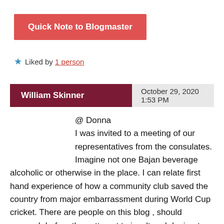Quick Note to Blogmaster
★ Liked by 1 person
William Skinner  October 29, 2020 1:53 PM
@ Donna
I was invited to a meeting of our representatives from the consulates. Imagine not one Bajan beverage alcoholic or otherwise in the place. I can relate first hand experience of how a community club saved the country from major embarrassment during World Cup cricket. There are people on this blog , should research before they attempt to insult and denigrate others.
The only reason, I would not expose the nefarious